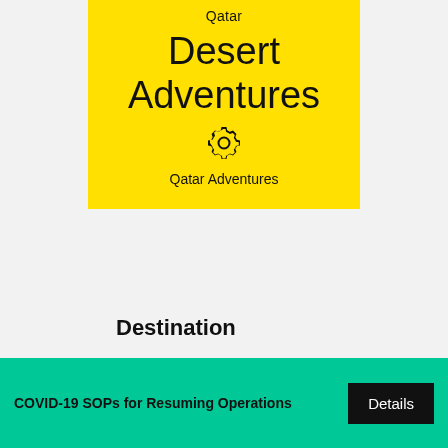[Figure (illustration): Yellow card with 'Qatar' at top, large 'Desert Adventures' title, gear icon, and 'Qatar Adventures' subtitle]
Destination
Qatar
Departure
COVID-19 SOPs for Resuming Operations
Details